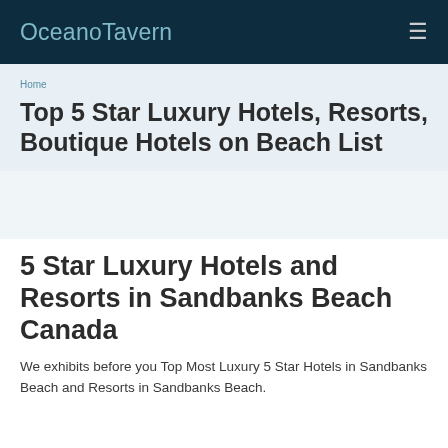OceanoTavern
Home
Top 5 Star Luxury Hotels, Resorts, Boutique Hotels on Beach List
5 Star Luxury Hotels and Resorts in Sandbanks Beach Canada
We exhibits before you Top Most Luxury 5 Star Hotels in Sandbanks Beach and Resorts in Sandbanks Beach.